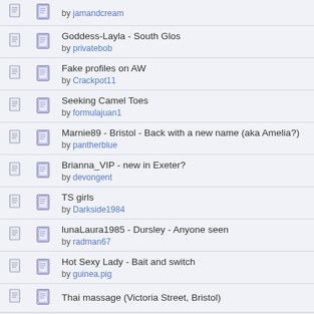by jamandcream
Goddess-Layla - South Glos
by privatebob
Fake profiles on AW
by Crackpot11
Seeking Camel Toes
by formulajuan1
Marnie89 - Bristol - Back with a new name (aka Amelia?)
by pantherblue
Brianna_VIP - new in Exeter?
by devongent
TS girls
by Darkside1984
lunaLaura1985 - Dursley - Anyone seen
by radman67
Hot Sexy Lady - Bait and switch
by guinea.pig
Thai massage (Victoria Street, Bristol)